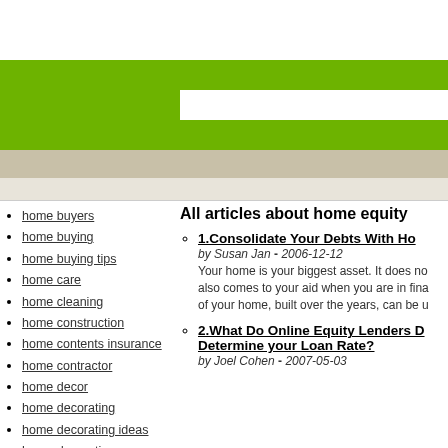[Figure (other): White header area at top of webpage]
[Figure (other): Green navigation/header bar with white search box input area]
[Figure (other): Beige/tan navigation bar]
[Figure (other): Light beige sub-navigation bar]
home buyers
home buying
home buying tips
home care
home cleaning
home construction
home contents insurance
home contractor
home decor
home decorating
home decorating ideas
home decoration
home design
home designs
All articles about home equity
1. Consolidate Your Debts With Home... by Susan Jan - 2006-12-12. Your home is your biggest asset. It does no... also comes to your aid when you are in fina... of your home, built over the years, can be u...
2. What Do Online Equity Lenders D... Determine your Loan Rate? by Joel Cohen - 2007-05-03